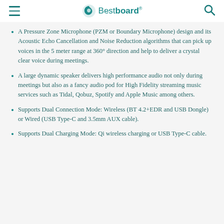Bestboard® [menu] [search]
A Pressure Zone Microphone (PZM or Boundary Microphone) design and its Acoustic Echo Cancellation and Noise Reduction algorithms that can pick up voices in the 5 meter range at 360° direction and help to deliver a crystal clear voice during meetings.
A large dynamic speaker delivers high performance audio not only during meetings but also as a fancy audio pod for High Fidelity streaming music services such as Tidal, Qobuz, Spotify and Apple Music among others.
Supports Dual Connection Mode: Wireless (BT 4.2+EDR and USB Dongle) or Wired (USB Type-C and 3.5mm AUX cable).
Supports Dual Charging Mode: Qi wireless charging or USB Type-C cable...